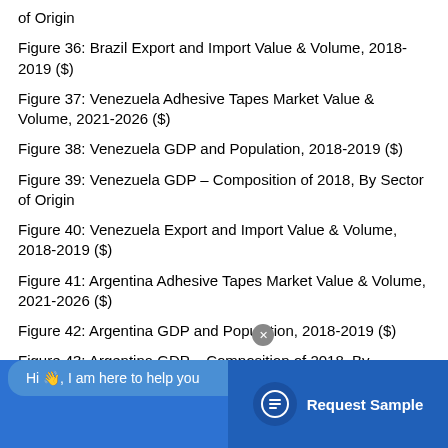of Origin
Figure 36: Brazil Export and Import Value & Volume, 2018-2019 ($)
Figure 37: Venezuela Adhesive Tapes Market Value & Volume, 2021-2026 ($)
Figure 38: Venezuela GDP and Population, 2018-2019 ($)
Figure 39: Venezuela GDP – Composition of 2018, By Sector of Origin
Figure 40: Venezuela Export and Import Value & Volume, 2018-2019 ($)
Figure 41: Argentina Adhesive Tapes Market Value & Volume, 2021-2026 ($)
Figure 42: Argentina GDP and Population, 2018-2019 ($)
Figure 43: Argentina GDP – Composition of 2018, By